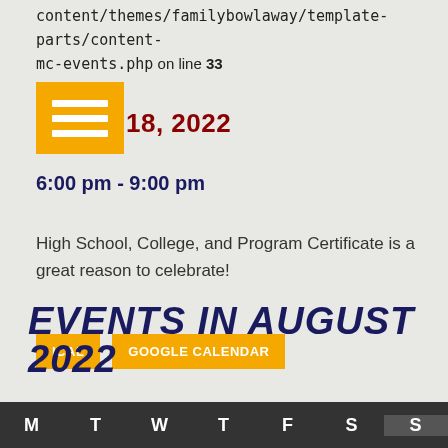content/themes/familybowlaway/template-parts/content-mc-events.php on line 33
18, 2022
6:00 pm - 9:00 pm
High School, College, and Program Certificate is a great reason to celebrate!
ICAL   GOOGLE CALENDAR
EVENTS IN AUGUST 2022
| M | T | W | T | F | S | S |
| --- | --- | --- | --- | --- | --- | --- |